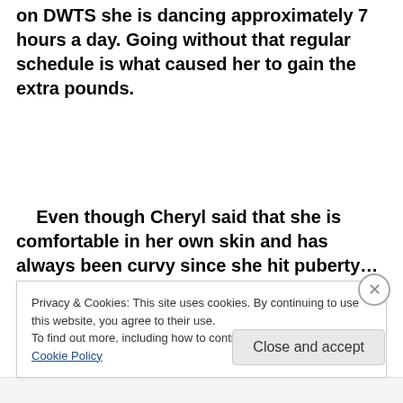on DWTS she is dancing approximately 7 hours a day. Going without that regular schedule is what caused her to gain the extra pounds.
Even though Cheryl said that she is comfortable in her own skin and has always been curvy since she hit puberty...those hurtful comments definately affected her.  She said, even with the weight gain, she
Privacy & Cookies: This site uses cookies. By continuing to use this website, you agree to their use.
To find out more, including how to control cookies, see here: Cookie Policy
Close and accept